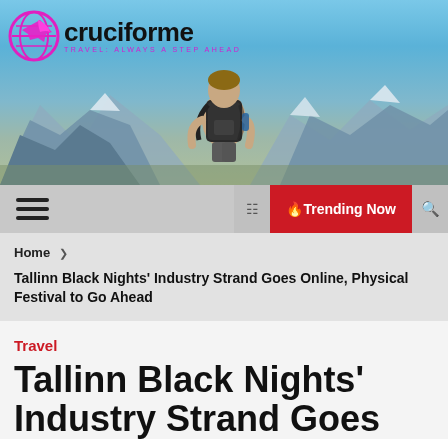[Figure (photo): Travel blog header banner showing a hiker with a backpack looking at mountains under a blue sky, with the cruciforme logo (magenta airplane/globe icon) and site name 'cruciforme' overlaid, with tagline 'TRAVEL: ALWAYS A STEP AHEAD']
☰   🔥 Trending Now  🔍
Home ❯
Tallinn Black Nights' Industry Strand Goes Online, Physical Festival to Go Ahead
Travel
Tallinn Black Nights' Industry Strand Goes...